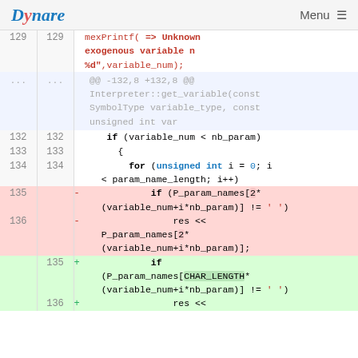Dynare  Menu
[Figure (screenshot): Code diff view showing changes to Dynare interpreter source code. Lines 129-136 shown with additions (green) and deletions (red). Context lines show if (variable_num < nb_param) and for loop. Deleted lines show P_param_names[2* usage, added lines show P_param_names[CHAR_LENGTH* usage.]